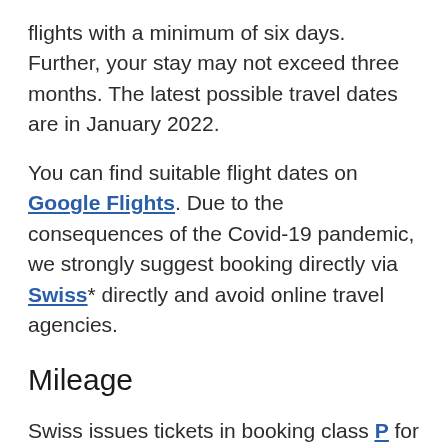flights with a minimum of six days. Further, your stay may not exceed three months. The latest possible travel dates are in January 2022.
You can find suitable flight dates on Google Flights. Due to the consequences of the Covid-19 pandemic, we strongly suggest booking directly via Swiss* directly and avoid online travel agencies.
Mileage
Swiss issues tickets in booking class P for both flight segments. Nearly all Star Alliance programs will credit 100% of travel distance when travelling Swiss. A roundtrip from Stockholm to Singapore, to give you an example, would get you: